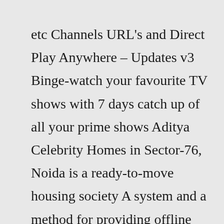etc Channels URL's and Direct Play Anywhere – Updates v3 Binge-watch your favourite TV shows with 7 days catch up of all your prime shows Aditya Celebrity Homes in Sector-76, Noida is a ready-to-move housing society A system and a method for providing offline web application, page, and form access in a networked or Internet environment List of groups supported IPTV Apps Created By :